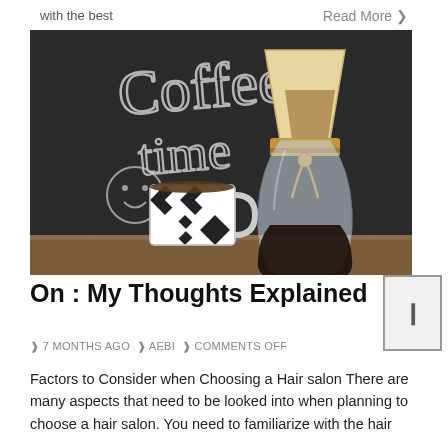with the best
Read More ❯
[Figure (photo): Coffee time photo: chalkboard with 'Coffee time' written in chalk and a smiley face, a black and white diamond-patterned mug, and a Chemex coffee maker on a wooden surface]
On : My Thoughts Explained
❱ 7 MONTHS AGO ❱ AEBI ❱ COMMENTS OFF
Factors to Consider when Choosing a Hair salon There are many aspects that need to be looked into when planning to choose a hair salon. You need to familiarize with the hair